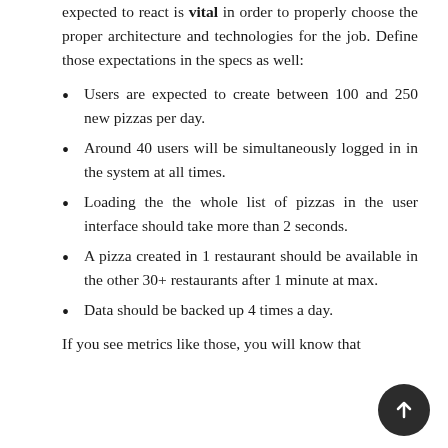expected to react is vital in order to properly choose the proper architecture and technologies for the job. Define those expectations in the specs as well:
Users are expected to create between 100 and 250 new pizzas per day.
Around 40 users will be simultaneously logged in in the system at all times.
Loading the the whole list of pizzas in the user interface should take more than 2 seconds.
A pizza created in 1 restaurant should be available in the other 30+ restaurants after 1 minute at max.
Data should be backed up 4 times a day.
If you see metrics like those, you will know that